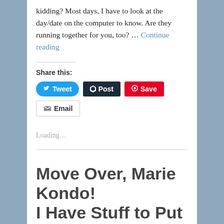kidding? Most days, I have to look at the day/date on the computer to know. Are they running together for you, too? … Continue reading
Share this:
[Figure (infographic): Social share buttons: Tweet (blue rounded), Post (dark), Save (red), Email (white with border)]
Loading...
Move Over, Marie Kondo! I Have Stuff to Put